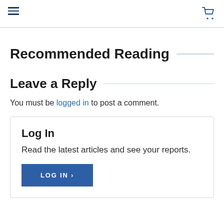≡ [hamburger menu] [cart icon]
Recommended Reading
Leave a Reply
You must be logged in to post a comment.
Log In
Read the latest articles and see your reports.
LOG IN ›